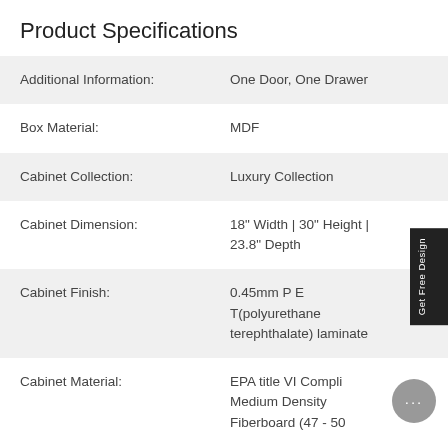Product Specifications
|  |  |
| --- | --- |
| Additional Information: | One Door, One Drawer |
| Box Material: | MDF |
| Cabinet Collection: | Luxury Collection |
| Cabinet Dimension: | 18" Width | 30" Height | 23.8" Depth |
| Cabinet Finish: | 0.45mm P E T(polyurethane terephthalate) laminate |
| Cabinet Material: | EPA title VI Compliant Medium Density Fiberboard (47 - 50 |